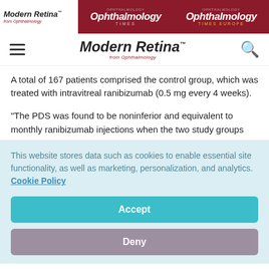Modern Retina from Ophthalmology | Ophthalmology Times | Ophthalmology Times Europe
[Figure (logo): Modern Retina from Ophthalmology navigation bar with hamburger menu and search icon]
A total of 167 patients comprised the control group, which was treated with intravitreal ranibizumab (0.5 mg every 4 weeks).
"The PDS was found to be noninferior and equivalent to monthly ranibizumab injections when the two study groups
This website stores data such as cookies to enable essential site functionality, as well as marketing, personalization, and analytics. Cookie Policy
Accept
Deny